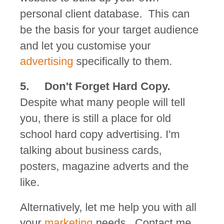addresses from people who visit your website to build up your own personal client database.  This can be the basis for your target audience and let you customise your advertising specifically to them.
5.    Don't Forget Hard Copy.  Despite what many people will tell you, there is still a place for old school hard copy advertising.  I'm talking about business cards, posters, magazine adverts and the like.
Alternatively, let me help you with all your marketing needs.  Contact me for an informal discussion on 01452 534860 or visit our website dynamicsalessolutions.co.uk and take a look at what we can do for you.